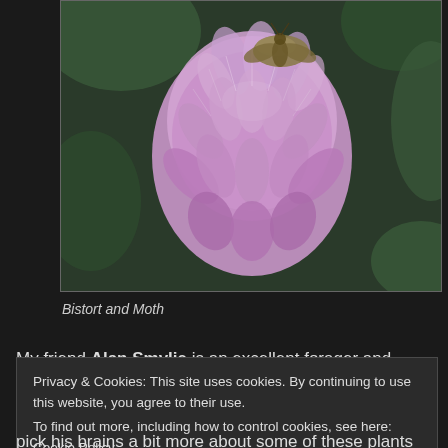[Figure (photo): Close-up photograph of pink bistort flower head with a moth perched on top, dark green background]
Bistort and Moth
My friend Alan Smylie is an excellent forager and
Privacy & Cookies: This site uses cookies. By continuing to use this website, you agree to their use.
To find out more, including how to control cookies, see here: Cookie Policy
Close and accept
pick his brains a bit more about some of these plants